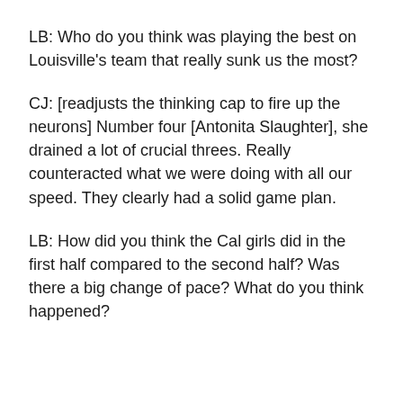LB: Who do you think was playing the best on Louisville's team that really sunk us the most?
CJ: [readjusts the thinking cap to fire up the neurons] Number four [Antonita Slaughter], she drained a lot of crucial threes. Really counteracted what we were doing with all our speed. They clearly had a solid game plan.
LB: How did you think the Cal girls did in the first half compared to the second half? Was there a big change of pace? What do you think happened?